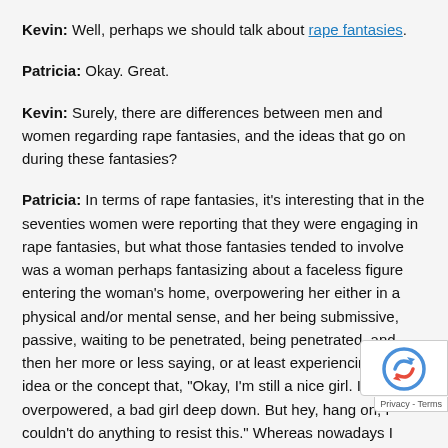Kevin: Well, perhaps we should talk about rape fantasies.
Patricia: Okay. Great.
Kevin: Surely, there are differences between men and women regarding rape fantasies, and the ideas that go on during these fantasies?
Patricia: In terms of rape fantasies, it's interesting that in the seventies women were reporting that they were engaging in rape fantasies, but what those fantasies tended to involve was a woman perhaps fantasizing about a faceless figure entering the woman's home, overpowering her either in a physical and/or mental sense, and her being submissive, passive, waiting to be penetrated, being penetrated, and then her more or less saying, or at least experiencing the idea or the concept that, "Okay, I'm still a nice girl. I've been overpowered, I'm not a bad girl deep down. But hey, hang on, I couldn't do anything to resist this." Whereas nowadays I think women